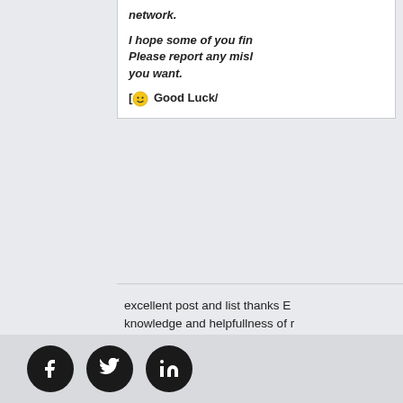network.
I hope some of you fine... Please report any misl... you want.
[😊 Good Luck/
excellent post and list thanks E... knowledge and helpfullness of r...
p.s. ewwwwwwwwwwwwww look at... special..LOL
Mike M aka greyhairedwolf
--------------------------------------------------
Eight Words The Wiccan Rede Fulfills "An it harm none do what you will"
--------------------------------------------------
A mind is like a parachute it only work... WHEN OPEN
[Figure (logo): Facebook, Twitter, and LinkedIn social media icons in black circles]
Social media icons: Facebook, Twitter, LinkedIn